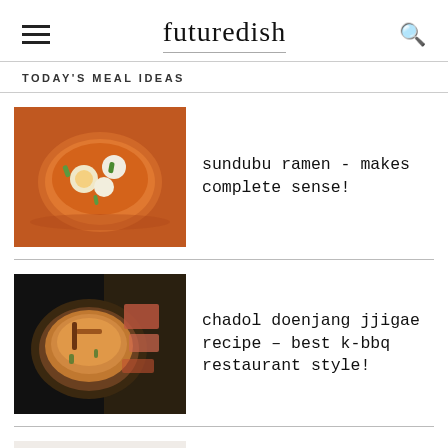futuredish
TODAY'S MEAL IDEAS
[Figure (photo): Bowl of sundubu ramen with tofu, egg, green onions in orange broth]
sundubu ramen - makes complete sense!
[Figure (photo): Chadol doenjang jjigae in black stone pot with wooden spoon, meat visible]
chadol doenjang jjigae recipe – best k-bbq restaurant style!
[Figure (photo): Donkatsu dish partially visible at bottom]
donkatsu - skip the